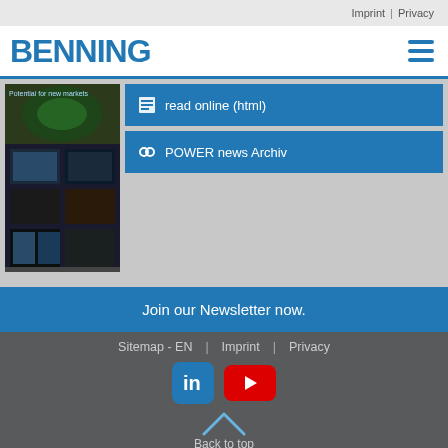Imprint | Privacy
[Figure (logo): BENNING company logo in blue bold text]
[Figure (illustration): Promotional magazine cover image showing technology/energy topics - Potential for new markets]
read online (html)
POWER news Archiv
Join our Newsletter now.
Sitemap - EN | Imprint | Privacy
[Figure (logo): LinkedIn icon - blue square with 'in' logo]
[Figure (logo): YouTube icon - red rectangle with play button]
Back to top
[Figure (logo): Certification logos: ISO 9001, ISO 14001, ISO 50001, SCC, plus two additional certification marks]